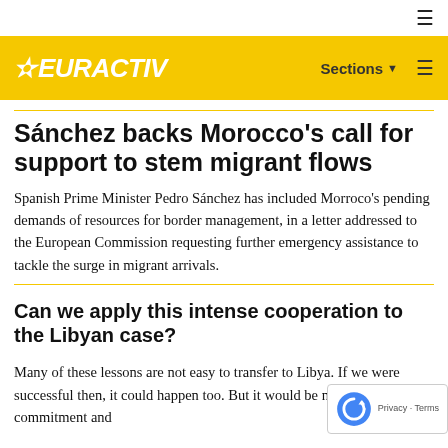☰
[Figure (logo): EURACTIV logo with star on yellow background, with Sections and hamburger menu on the right]
Sánchez backs Morocco's call for support to stem migrant flows
Spanish Prime Minister Pedro Sánchez has included Morroco's pending demands of resources for border management, in a letter addressed to the European Commission requesting further emergency assistance to tackle the surge in migrant arrivals.
Can we apply this intense cooperation to the Libyan case?
Many of these lessons are not easy to transfer to Libya. If we were successful then, it could happen too. But it would be needed a level of commitment and